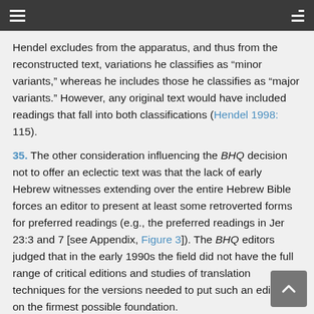Hendel excludes from the apparatus, and thus from the reconstructed text, variations he classifies as “minor variants,” whereas he includes those he classifies as “major variants.” However, any original text would have included readings that fall into both classifications (Hendel 1998: 115).
35. The other consideration influencing the BHQ decision not to offer an eclectic text was that the lack of early Hebrew witnesses extending over the entire Hebrew Bible forces an editor to present at least some retroverted forms for preferred readings (e.g., the preferred readings in Jer 23:3 and 7 [see Appendix, Figure 3]). The BHQ editors judged that in the early 1990s the field did not have the full range of critical editions and studies of translation techniques for the versions needed to put such an edition on the firmest possible foundation.
This is still the case. By putting the retroverted